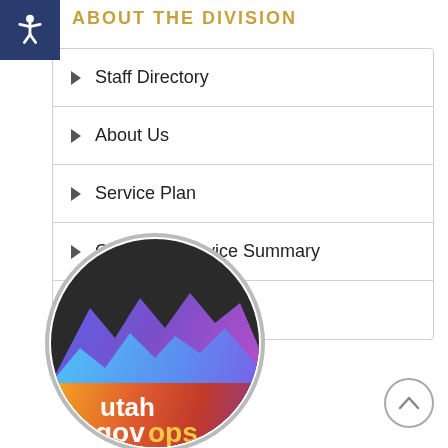ABOUT THE DIVISION
Staff Directory
About Us
Service Plan
Customer Service Summary
Employee Portal 🔒
[Figure (logo): Utah GovOps circular logo with mountain graphic and colorful gradient background]